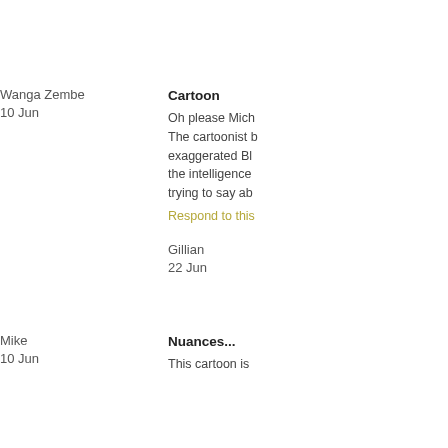Wanga Zembe
10 Jun
Cartoon
Oh please Mich
The cartoonist b
exaggerated Bl
the intelligence
trying to say ab
Respond to this
Gillian
22 Jun
Mike
10 Jun
Nuances...
This cartoon is